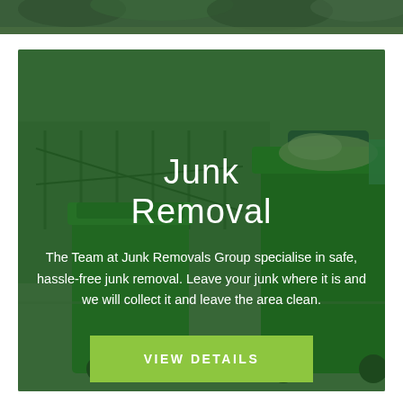[Figure (photo): Top strip showing partial view of green foliage/trees background image]
[Figure (photo): Large card with background photo of green wheelie bins/garbage cans on a street with a car in background, overlaid with dark green semi-transparent overlay]
Junk Removal
The Team at Junk Removals Group specialise in safe, hassle-free junk removal. Leave your junk where it is and we will collect it and leave the area clean.
VIEW DETAILS